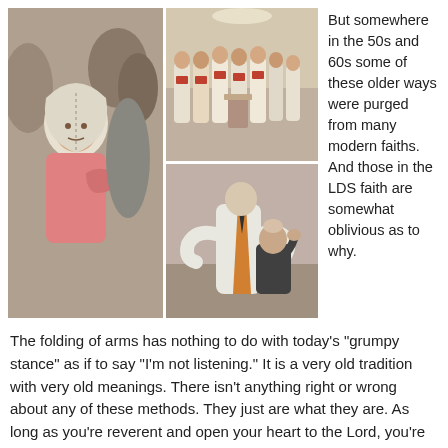[Figure (photo): Three religious photos: left - young girl with head covering and arms folded in prayer; top right - group of people in traditional religious robes/choir; bottom right - priest in vestments performing a blessing on a kneeling person]
But somewhere in the 50s and 60s some of these older ways were purged from many modern faiths.  And those in the LDS faith are somewhat oblivious as to why.
The folding of arms has nothing to do with today’s “grumpy stance” as if to say “I’m not listening.”  It is a very old tradition with very old meanings.  There isn’t anything right or wrong about any of these methods.  They just are what they are.  As long as you’re reverent and open your heart to the Lord, you’re getting the point of prayer anyway.